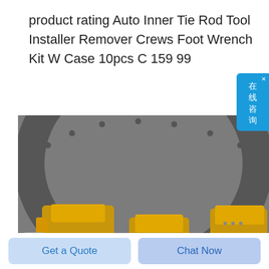product rating Auto Inner Tie Rod Tool Installer Remover Crews Foot Wrench Kit W Case 10pcs C 159 99
[Figure (photo): Photograph of yellow industrial/mining tools or equipment mounted on a grey metal surface, showing multiple yellow-painted mechanical devices with cables/wires attached, in a tunnel or industrial setting.]
Get a Quote
Chat Now